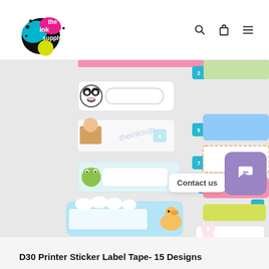[Figure (logo): The Ink Supply logo with colorful ink splatter and text]
[Figure (photo): Product image showing D30 Printer Sticker Label Tape with 15 different label designs numbered 2-15 in teal squares, featuring various cute characters (panda, cat in box, frog, duck/goose, bunny) and colored label backgrounds. Bottom shows label sizes: 14*30mm White BG (label 12), 12*30mm White BG (label 13), and partial labels 14-15.]
D30 Printer Sticker Label Tape- 15 Designs